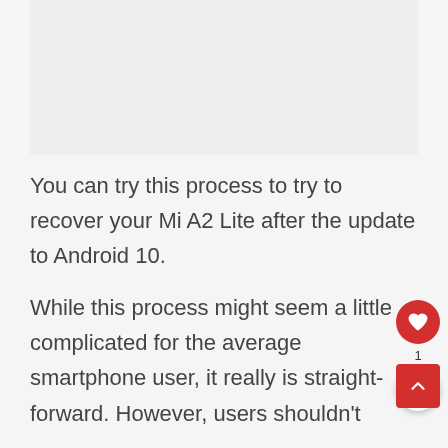[Figure (other): Advertisement placeholder banner (gray rectangle)]
You can try this process to try to recover your Mi A2 Lite after the update to Android 10.
While this process might seem a little complicated for the average smartphone user, it really is straight-forward. However, users shouldn't